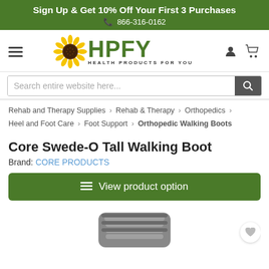Sign Up & Get 10% Off Your First 3 Purchases
866-316-0162
[Figure (logo): HPFY Health Products For You logo with sunflower]
Search entire website here...
Rehab and Therapy Supplies > Rehab & Therapy > Orthopedics > Heel and Foot Care > Foot Support > Orthopedic Walking Boots
Core Swede-O Tall Walking Boot
Brand: CORE PRODUCTS
View product option
[Figure (photo): Partial image of a grey orthopedic walking boot at the bottom of the page]